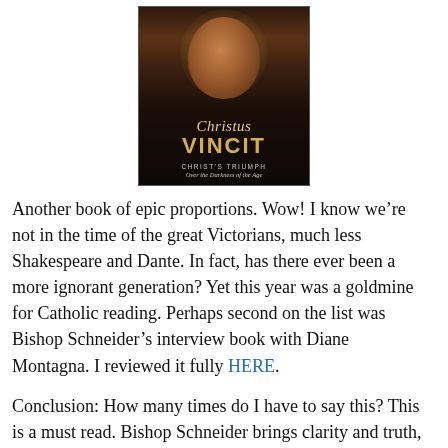[Figure (illustration): Book cover of 'Christus Vincit: Christ's Triumph Over the Darkness of the Age' showing a painted portrait of Jesus Christ with a halo, golden title text.]
Another book of epic proportions. Wow! I know we’re not in the time of the great Victorians, much less Shakespeare and Dante. In fact, has there ever been a more ignorant generation? Yet this year was a goldmine for Catholic reading. Perhaps second on the list was Bishop Schneider’s interview book with Diane Montagna. I reviewed it fully HERE.
Conclusion: How many times do I have to say this? This is a must read. Bishop Schneider brings clarity and truth, which makes the soul rejoice and liberals shriek in fear. What could be better than that?